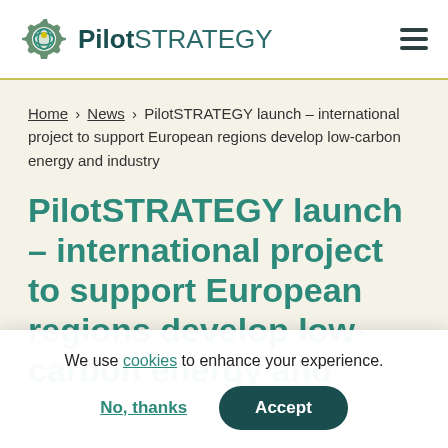PilotSTRATEGY
Home > News > PilotSTRATEGY launch - international project to support European regions develop low-carbon energy and industry
PilotSTRATEGY launch – international project to support European regions develop low-carbon energy and industry
We use cookies to enhance your experience.
No, thanks
Accept